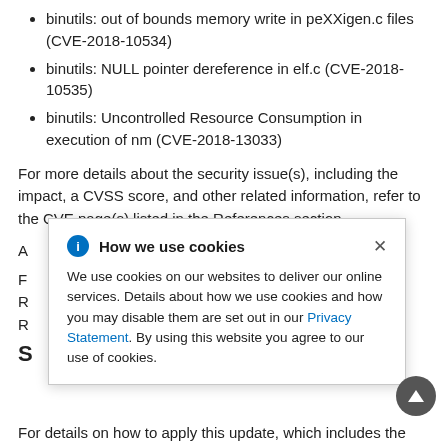binutils: out of bounds memory write in peXXigen.c files (CVE-2018-10534)
binutils: NULL pointer dereference in elf.c (CVE-2018-10535)
binutils: Uncontrolled Resource Consumption in execution of nm (CVE-2018-13033)
For more details about the security issue(s), including the impact, a CVSS score, and other related information, refer to the CVE page(s) listed in the References section.
A [partially obscured by cookie popup]
F [partially obscured] ase, see the
R [partially obscured] nked from the
R [partially obscured]
S [section header, partially obscured]
[Figure (screenshot): Cookie consent popup overlay with title 'How we use cookies', info icon, close button (x), and body text: 'We use cookies on our websites to deliver our online services. Details about how we use cookies and how you may disable them are set out in our Privacy Statement. By using this website you agree to our use of cookies.']
For details on how to apply this update, which includes the